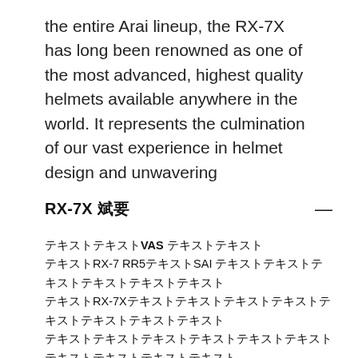the entire Arai lineup, the RX-7X has long been renowned as one of the most advanced, highest quality helmets available anywhere in the world. It represents the culmination of our vast experience in helmet design and unwavering
RX-7X 概要 —
テキストVAS テキスト
テキストRX-7 RR5テキストSAI テキストテキストテキストテキストテキスト
テキストRX-7Xテキストテキストテキストテキストテキストテキストテキストテキスト
テキストテキストテキストテキストテキストテキストテキストテキストテキストテキスト
テキストテキストテキストテキストテキストテキストテキストテキストSAI テキストテキスト
テキストテキストテキストテキストテキストテキストテキストテキストテキストテキスト
テキストテキストテキストテキストテキストテキスト(テキストテキストテキストテキスト)